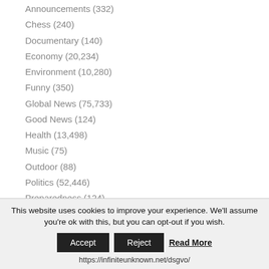Announcements (332)
Chess (240)
Documentary (140)
Economy (20,234)
Environment (10,280)
Funny (350)
Global News (75,733)
Good News (124)
Health (13,498)
Music (75)
Outdoor (88)
Politics (52,446)
Preparedness (124)
Science (4,038)
Society (29,453)
This website uses cookies to improve your experience. We'll assume you're ok with this, but you can opt-out if you wish.
Accept  Reject  Read More
https://infiniteunknown.net/dsgvo/